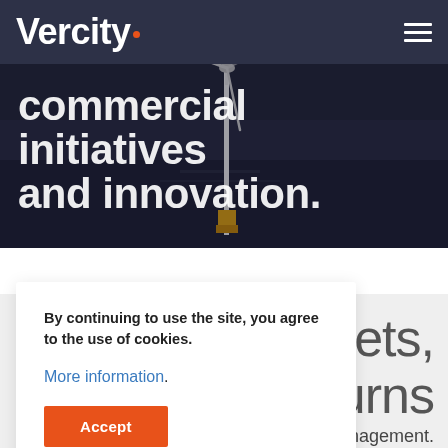Vercity
[Figure (photo): Offshore wind turbine at night, dark ocean background, white mast with yellow base detail visible against dark water and sky]
commercial initiatives and innovation.
By continuing to use the site, you agree to the use of cookies.
More information.
Accept
assets, returns management.